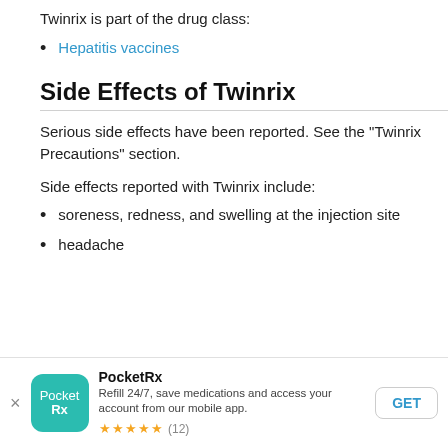Twinrix is part of the drug class:
Hepatitis vaccines
Side Effects of Twinrix
Serious side effects have been reported. See the “Twinrix Precautions” section.
Side effects reported with Twinrix include:
soreness, redness, and swelling at the injection site
headache
[Figure (other): PocketRx app banner: PocketRx logo, app name, description 'Refill 24/7, save medications and access your account from our mobile app.', 5-star rating with (12) reviews, GET button.]